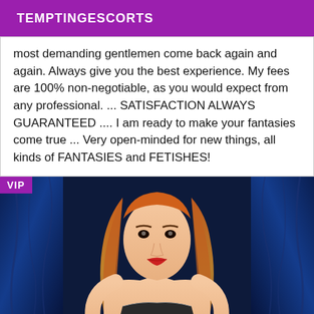TEMPTINGESCORTS
most demanding gentlemen come back again and again. Always give you the best experience. My fees are 100% non-negotiable, as you would expect from any professional. ... SATISFACTION ALWAYS GUARANTEED .... I am ready to make your fantasies come true ... Very open-minded for new things, all kinds of FANTASIES and FETISHES!
[Figure (photo): Portrait photo of a blonde woman with long red/orange hair, wearing a dark sparkly outfit, against a blue curtain/fabric background. A purple VIP badge is in the top-left corner.]